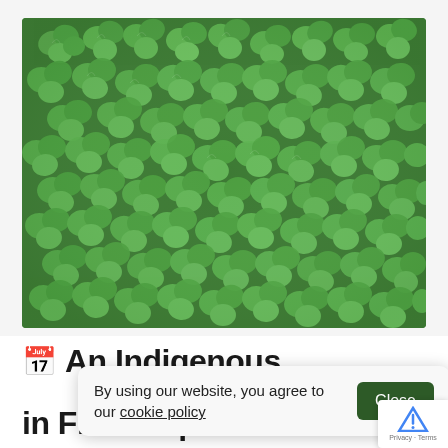[Figure (photo): Close-up photograph of dense green clover or shamrock-like plants with heart-shaped leaves, filling the entire frame with various shades of green.]
An Indigenous
By using our website, you agree to our cookie policy  [Close button]
in Fire-adapted